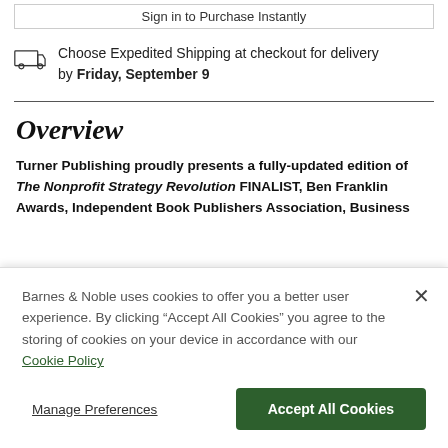Sign in to Purchase Instantly
Choose Expedited Shipping at checkout for delivery by Friday, September 9
Overview
Turner Publishing proudly presents a fully-updated edition of The Nonprofit Strategy Revolution FINALIST, Ben Franklin Awards, Independent Book Publishers Association, Business
Barnes & Noble uses cookies to offer you a better user experience. By clicking "Accept All Cookies" you agree to the storing of cookies on your device in accordance with our Cookie Policy
Manage Preferences
Accept All Cookies